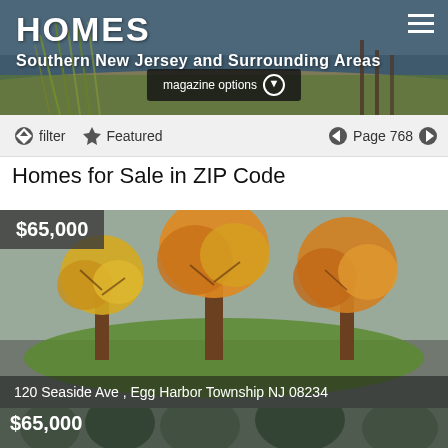HOMES - Southern New Jersey and Surrounding Areas
magazine options
filter  Featured  Page 768
Homes for Sale in ZIP Code
[Figure (photo): Property listing photo showing autumn trees illustration, price $65,000, address: 120 Seaside Ave , Egg Harbor Township NJ 08234]
[Figure (photo): Property listing photo showing wooded/forest scene, price $65,000]